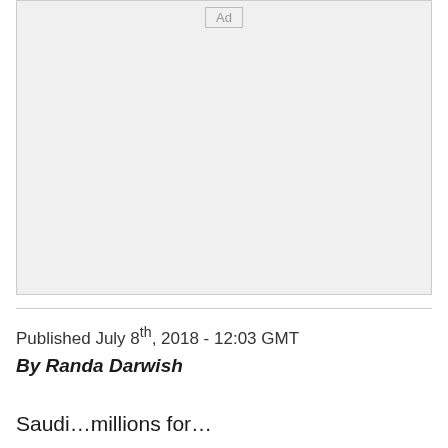[Figure (other): Advertisement placeholder box with 'Ad' label at top center, light gray background]
Published July 8th, 2018 - 12:03 GMT
By Randa Darwish
Saudi...millions for...